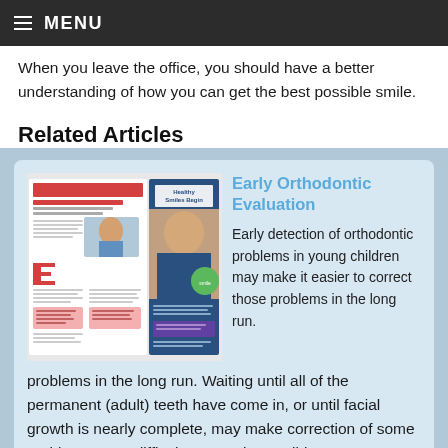MENU
When you leave the office, you should have a better understanding of how you can get the best possible smile.
Related Articles
[Figure (illustration): Thumbnail of Early Orthodontic Evaluation article showing magazine spread with text and photos of children and a smiling woman]
Early Orthodontic Evaluation
Early detection of orthodontic problems in young children may make it easier to correct those problems in the long run. Waiting until all of the permanent (adult) teeth have come in, or until facial growth is nearly complete, may make correction of some problems more difficult or even impossible. An
Early detection of orthodontic problems in young children may make it easier to correct those problems in the long run. Waiting until all of the permanent (adult) teeth have come in, or until facial growth is nearly complete, may make correction of some problems more difficult or even impossible. An